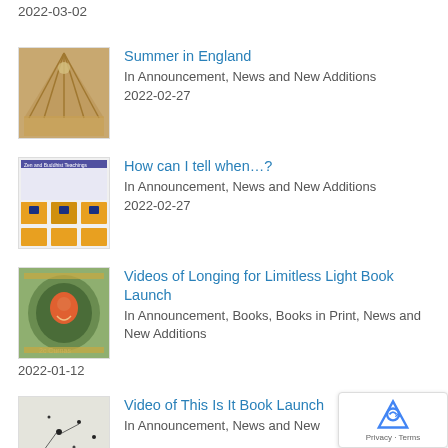2022-03-02
Summer in England
In Announcement, News and New Additions
2022-02-27
How can I tell when…?
In Announcement, News and New Additions
2022-02-27
Videos of Longing for Limitless Light Book Launch
In Announcement, Books, Books in Print, News and New Additions
2022-01-12
Video of This Is It Book Launch
In Announcement, News and New